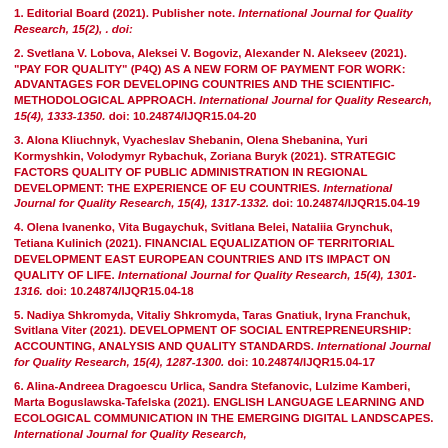1. Editorial Board (2021). Publisher note. International Journal for Quality Research, 15(2), . doi:
2. Svetlana V. Lobova, Aleksei V. Bogoviz, Alexander N. Alekseev (2021). "PAY FOR QUALITY" (P4Q) AS A NEW FORM OF PAYMENT FOR WORK: ADVANTAGES FOR DEVELOPING COUNTRIES AND THE SCIENTIFIC-METHODOLOGICAL APPROACH. International Journal for Quality Research, 15(4), 1333-1350. doi: 10.24874/IJQR15.04-20
3. Alona Kliuchnyk, Vyacheslav Shebanin, Olena Shebanina, Yuri Kormyshkin, Volodymyr Rybachuk, Zoriana Buryk (2021). STRATEGIC FACTORS QUALITY OF PUBLIC ADMINISTRATION IN REGIONAL DEVELOPMENT: THE EXPERIENCE OF EU COUNTRIES. International Journal for Quality Research, 15(4), 1317-1332. doi: 10.24874/IJQR15.04-19
4. Olena Ivanenko, Vita Bugaychuk, Svitlana Belei, Nataliia Grynchuk, Tetiana Kulinich (2021). FINANCIAL EQUALIZATION OF TERRITORIAL DEVELOPMENT EAST EUROPEAN COUNTRIES AND ITS IMPACT ON QUALITY OF LIFE. International Journal for Quality Research, 15(4), 1301-1316. doi: 10.24874/IJQR15.04-18
5. Nadiya Shkromyda, Vitaliy Shkromyda, Taras Gnatiuk, Iryna Franchuk, Svitlana Viter (2021). DEVELOPMENT OF SOCIAL ENTREPRENEURSHIP: ACCOUNTING, ANALYSIS AND QUALITY STANDARDS. International Journal for Quality Research, 15(4), 1287-1300. doi: 10.24874/IJQR15.04-17
6. Alina-Andreea Dragoescu Urlica, Sandra Stefanovic, Lulzime Kamberi, Marta Boguslawska-Tafelska (2021). ENGLISH LANGUAGE LEARNING AND ECOLOGICAL COMMUNICATION IN THE EMERGING DIGITAL LANDSCAPES. International Journal for Quality Research,